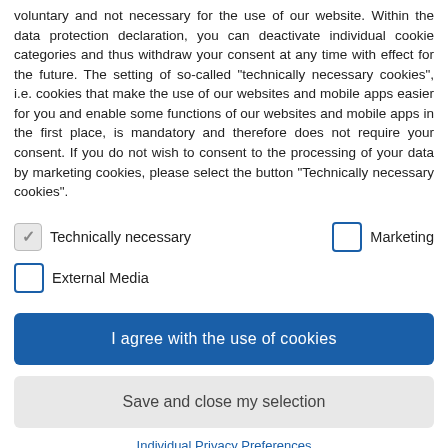voluntary and not necessary for the use of our website. Within the data protection declaration, you can deactivate individual cookie categories and thus withdraw your consent at any time with effect for the future. The setting of so-called "technically necessary cookies", i.e. cookies that make the use of our websites and mobile apps easier for you and enable some functions of our websites and mobile apps in the first place, is mandatory and therefore does not require your consent. If you do not wish to consent to the processing of your data by marketing cookies, please select the button "Technically necessary cookies".
Technically necessary
Marketing
External Media
I agree with the use of cookies
Save and close my selection
Individual Privacy Preferences